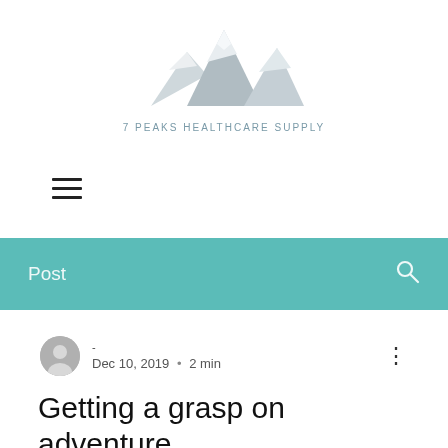[Figure (logo): 7 Peaks Healthcare Supply logo with mountain peaks illustration and text]
[Figure (illustration): Hamburger menu icon with three horizontal lines]
Post
- Dec 10, 2019 • 2 min
Getting a grasp on adventure
Create a blog post subtitle that summarizes your post in a few short, punchy…